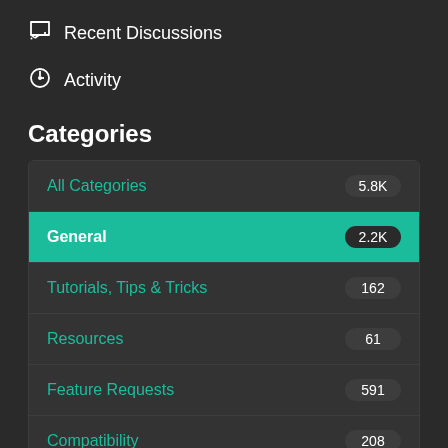Recent Discussions
Activity
Categories
| Category | Count |
| --- | --- |
| All Categories | 5.8K |
| General | 2.2K |
| Tutorials, Tips & Tricks | 162 |
| Resources | 61 |
| Feature Requests | 591 |
| Compatibility | 208 |
| Support | 2.1K |